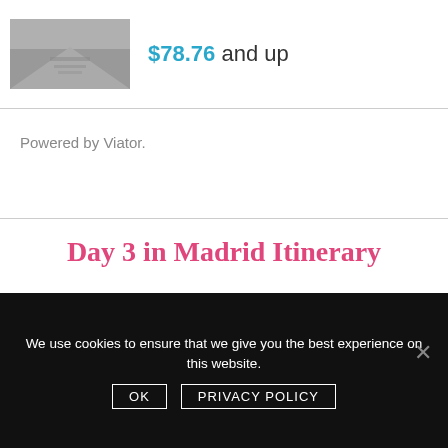[Figure (photo): Thumbnail photo of a road/highway, grayscale]
$78.76 and up
Powered by Viator.
Day 3 in Madrid Itinerary
After 2 days in Madrid that were jam packed with things to do, we decided to sleep in and take it easy on our 3 days in Madrid. For breakfast we just ate some yogurt in the room and then headed to the tapas restaurant El Sur for lunch. This was probably one of the best meals we had in Madrid.
We use cookies to ensure that we give you the best experience on this website.
OK  PRIVACY POLICY